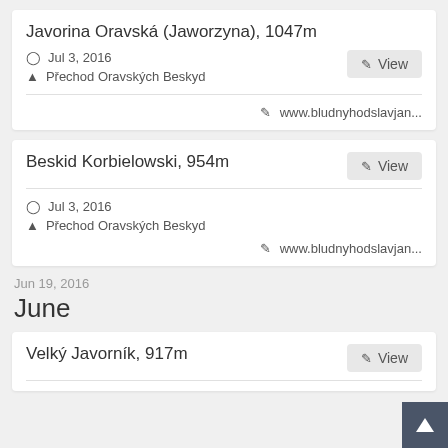Javorina Oravská (Jaworzyna), 1047m
Jul 3, 2016
Přechod Oravských Beskyd
www.bludnyhodslavjan...
Beskid Korbielowski, 954m
Jul 3, 2016
Přechod Oravských Beskyd
www.bludnyhodslavjan...
Jun 19, 2016
June
Velký Javorník, 917m